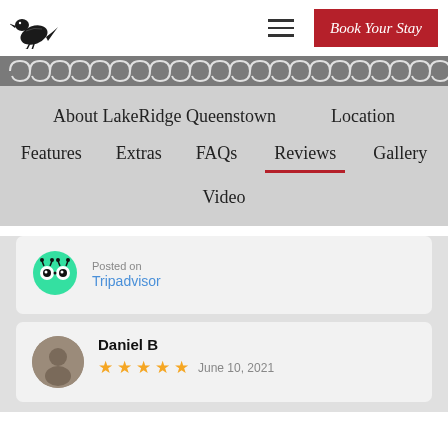[Figure (logo): Black bird (huia/tui) logo icon on white background]
[Figure (other): Hamburger menu icon (three horizontal lines)]
[Figure (other): Red 'Book Your Stay' button]
[Figure (other): Maori decorative border pattern in grey/white spirals]
About LakeRidge Queenstown
Location
Features
Extras
FAQs
Reviews
Gallery
Video
Posted on
Tripadvisor
Daniel B
June 10, 2021